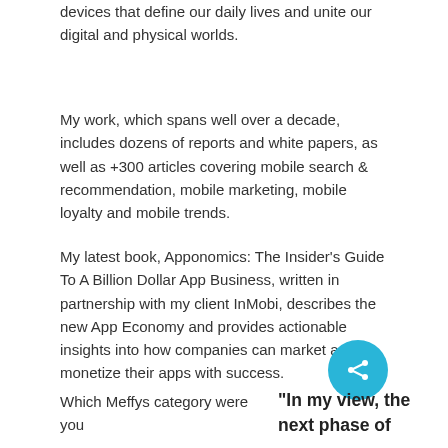devices that define our daily lives and unite our digital and physical worlds.
My work, which spans well over a decade, includes dozens of reports and white papers, as well as +300 articles covering mobile search & recommendation, mobile marketing, mobile loyalty and mobile trends.
My latest book, Apponomics: The Insider's Guide To A Billion Dollar App Business, written in partnership with my client InMobi, describes the new App Economy and provides actionable insights into how companies can market and monetize their apps with success.
Which Meffys category were you
“In my view, the next phase of